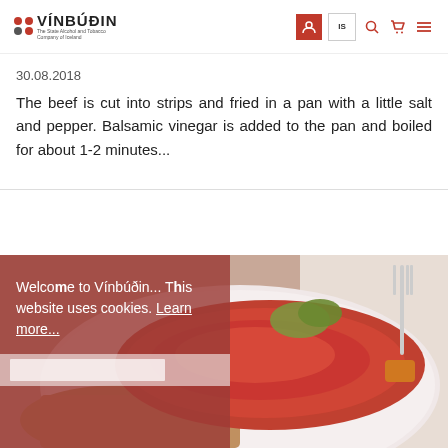VÍNBÚÐIN — The State Alcohol and Tobacco Company of Iceland
30.08.2018
The beef is cut into strips and fried in a pan with a little salt and pepper. Balsamic vinegar is added to the pan and boiled for about 1-2 minutes...
[Figure (photo): A cooked salmon fillet with glaze served on a plate with vegetables and grains, with a fork visible on the right side. A semi-transparent red cookie consent overlay reads: Welcome to Vínbúðin... This website uses cookies. Learn more...]
Welcome to Vínbúðin... This website uses cookies. Learn more...